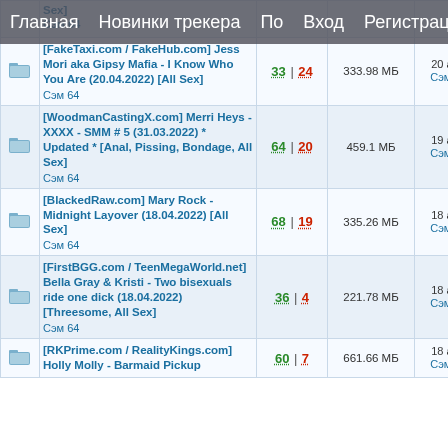Главная  Новинки трекера  По  Вход  Регистрация
|  | Title | Seeds|Leech | Size | Date/Author |
| --- | --- | --- | --- | --- |
| [folder] | [FakeTaxi.com / FakeHub.com] Jess Mori aka Gipsy Mafia - I Know Who You Are (20.04.2022) [All Sex]
Сэм 64 | 33 | 24 | 333.98 МБ | 20 апр 20
Сэм 64 |
| [folder] | [WoodmanCastingX.com] Merri Heys - XXXX - SMM # 5 (31.03.2022) * Updated * [Anal, Pissing, Bondage, All Sex]
Сэм 64 | 64 | 20 | 459.1 МБ | 19 апр 20
Сэм 64 |
| [folder] | [BlackedRaw.com] Mary Rock - Midnight Layover (18.04.2022) [All Sex]
Сэм 64 | 68 | 19 | 335.26 МБ | 18 апр 20
Сэм 64 |
| [folder] | [FirstBGG.com / TeenMegaWorld.net] Bella Gray & Kristi - Two bisexuals ride one dick (18.04.2022) [Threesome, All Sex]
Сэм 64 | 36 | 4 | 221.78 МБ | 18 апр 20
Сэм 64 |
| [folder] | [RKPrime.com / RealityKings.com] Holly Molly - Barmaid Pickup | 60 | 7 | 661.66 МБ | 18 апр 20
Сэм 64 |